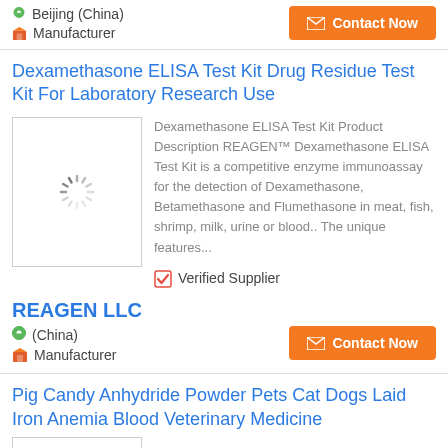Beijing (China)
Manufacturer
Contact Now
Dexamethasone ELISA Test Kit Drug Residue Test Kit For Laboratory Research Use
[Figure (photo): Loading spinner placeholder image for product]
Dexamethasone ELISA Test Kit Product Description REAGEN™ Dexamethasone ELISA Test Kit is a competitive enzyme immunoassay for the detection of Dexamethasone, Betamethasone and Flumethasone in meat, fish, shrimp, milk, urine or blood.. The unique features...
Verified Supplier
REAGEN LLC
(China)
Manufacturer
Contact Now
Pig Candy Anhydride Powder Pets Cat Dogs Laid Iron Anemia Blood Veterinary Medicine